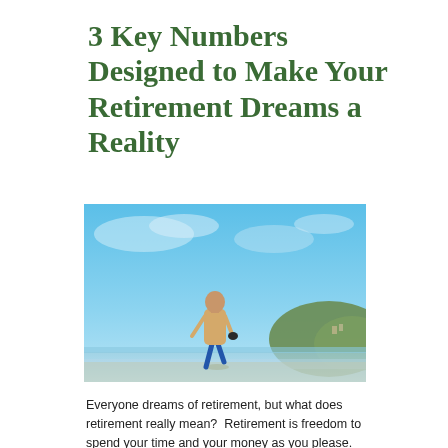3 Key Numbers Designed to Make Your Retirement Dreams a Reality
[Figure (photo): An elderly man walking barefoot on a beach, wearing a beige shirt and blue shorts, holding something in his hand, with a bright blue sky and a green hill in the background.]
Everyone dreams of retirement, but what does retirement really mean?  Retirement is freedom to spend your time and your money as you please.